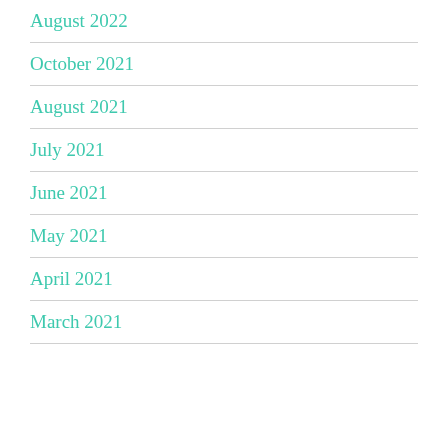August 2022
October 2021
August 2021
July 2021
June 2021
May 2021
April 2021
March 2021